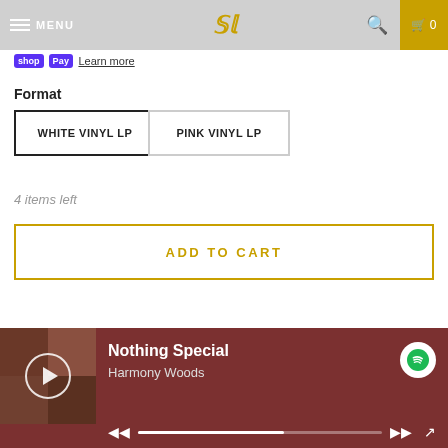MENU | SL logo | Search | Cart 0
shopPay Learn more
Format
WHITE VINYL LP
PINK VINYL LP
4 items left
ADD TO CART
[Figure (other): Spotify embedded music player showing 'Nothing Special' by Harmony Woods with album art, play button, progress bar, and playback controls]